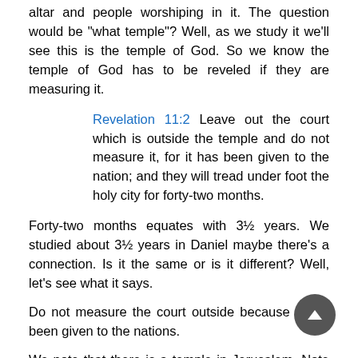altar and people worshiping in it. The question would be "what temple"? Well, as we study it we'll see this is the temple of God. So we know the temple of God has to be reveled if they are measuring it.
Revelation 11:2 Leave out the court which is outside the temple and do not measure it, for it has been given to the nation; and they will tread under foot the holy city for forty-two months.
Forty-two months equates with 3½ years. We studied about 3½ years in Daniel maybe there's a connection. Is it the same or is it different? Well, let's see what it says.
Do not measure the court outside because it has been given to the nations.
We note that there is a temple in Jerusalem. Note "It's been given" a repeated phrase.
It's been given to the nations and they are going to tread